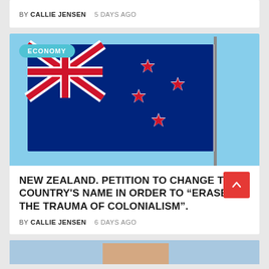BY CALLIE JENSEN   5 DAYS AGO
[Figure (photo): New Zealand flag waving against a clear blue sky, with a flagpole on the right side. The flag shows the Union Jack in the upper left and four red stars of the Southern Cross on the right side against a blue background. An 'ECONOMY' badge is overlaid in the upper left corner.]
NEW ZEALAND. PETITION TO CHANGE THE COUNTRY'S NAME IN ORDER TO “ERASE THE TRAUMA OF COLONIALISM”.
BY CALLIE JENSEN   6 DAYS AGO